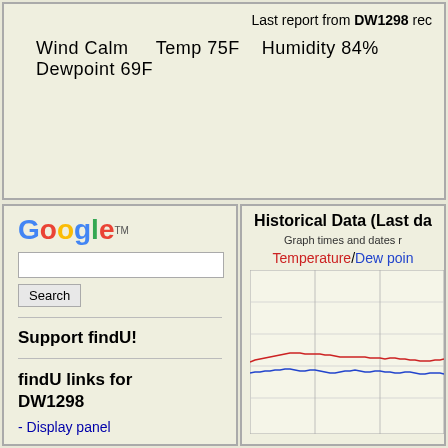Last report from DW1298 rec
Wind Calm    Temp 75F    Humidity 84%    Dewpoint 69F
[Figure (other): Google search widget with search box and Search button]
Support findU!
findU links for DW1298
- Display panel
Historical Data (Last da
Graph times and dates r
[Figure (line-chart): Line chart showing Temperature (red) and Dew point (blue) over last day]